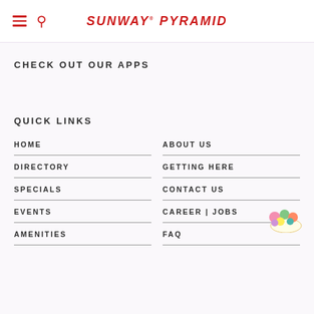SUNWAY PYRAMID
CHECK OUT OUR APPS
QUICK LINKS
HOME
ABOUT US
DIRECTORY
GETTING HERE
SPECIALS
CONTACT US
EVENTS
CAREER | JOBS
AMENITIES
FAQ